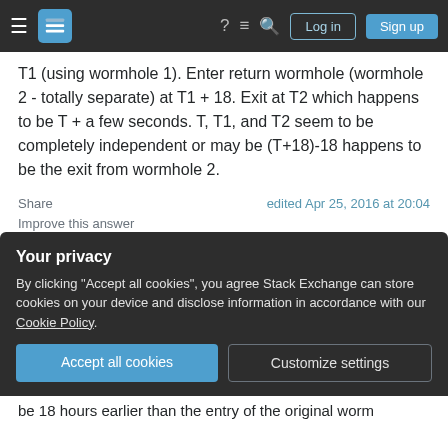Stack Exchange navigation bar with Log in and Sign up buttons
T1 (using wormhole 1). Enter return wormhole (wormhole 2 - totally separate) at T1 + 18. Exit at T2 which happens to be T + a few seconds. T, T1, and T2 seem to be completely independent or may be (T+18)-18 happens to be the exit from wormhole 2.
Share
Improve this answer
Follow
edited Apr 25, 2016 at 20:04
answered Apr 25, 2016 at 16:31
sabbahillel
Your privacy
By clicking "Accept all cookies", you agree Stack Exchange can store cookies on your device and disclose information in accordance with our Cookie Policy.
Accept all cookies
Customize settings
be 18 hours earlier than the entry of the original worm